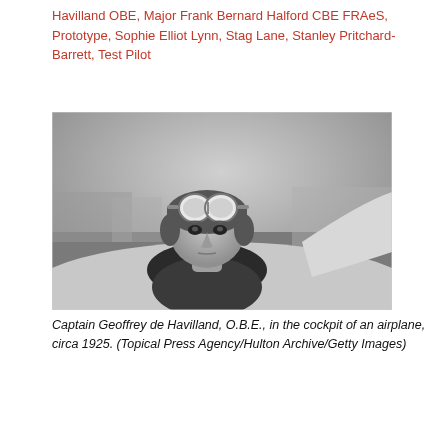Havilland OBE, Major Frank Bernard Halford CBE FRAeS, Prototype, Sophie Elliot Lynn, Stag Lane, Stanley Pritchard-Barrett, Test Pilot
[Figure (photo): Black and white photograph of Captain Geoffrey de Havilland, O.B.E., wearing a leather flying cap with goggles on top, looking out from the cockpit of an airplane, circa 1925.]
Captain Geoffrey de Havilland, O.B.E., in the cockpit of an airplane, circa 1925. (Topical Press Agency/Hulton Archive/Getty Images)